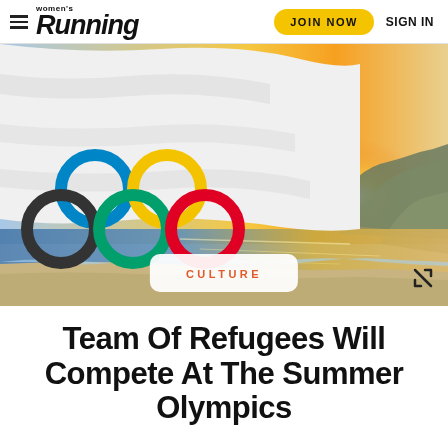women's Running | JOIN NOW | SIGN IN
[Figure (photo): Olympic flag with colorful rings waving on a beach at sunset, with hills/mountains in background and golden light reflecting on water. Rio de Janeiro setting.]
CULTURE
Team Of Refugees Will Compete At The Summer Olympics